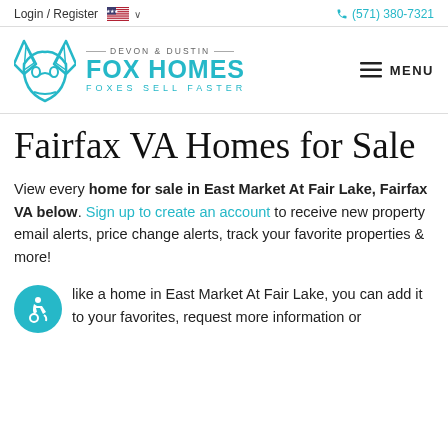Login / Register  🇺🇸 ∨   (571) 380-7321
[Figure (logo): Fox Homes logo with teal fox icon and text: DEVON & DUSTIN FOX HOMES FOXES SELL FASTER]
Fairfax VA Homes for Sale
View every home for sale in East Market At Fair Lake, Fairfax VA below. Sign up to create an account to receive new property email alerts, price change alerts, track your favorite properties & more!
like a home in East Market At Fair Lake, you can add it to your favorites, request more information or